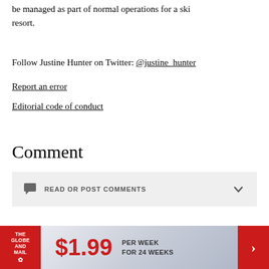be managed as part of normal operations for a ski resort.
Follow Justine Hunter on Twitter: @justine_hunter
Report an error
Editorial code of conduct
Comment
READ OR POST COMMENTS
[Figure (other): The Globe and Mail advertisement banner: $1.99 per week for 24 weeks with a red arrow button]